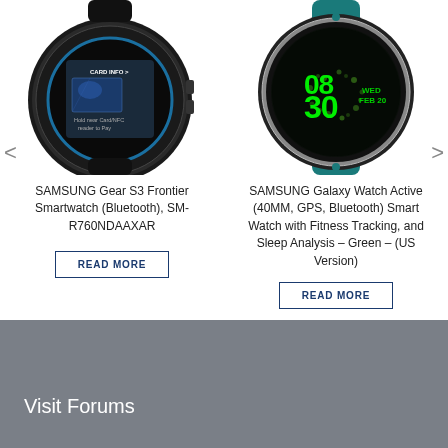[Figure (photo): Samsung Gear S3 Frontier Smartwatch with NFC payment screen showing 'Hold near Card/NFC reader to Pay' and 'CARD INFO' text. Black smartwatch with rotating bezel. Text above reads 'Pay with your watch'.]
[Figure (photo): Samsung Galaxy Watch Active in teal/green color showing digital clock face with '08:30 WED FEB 20' display. Round watch with teal band.]
SAMSUNG Gear S3 Frontier Smartwatch (Bluetooth), SM-R760NDAAXAR
READ MORE
SAMSUNG Galaxy Watch Active (40MM, GPS, Bluetooth) Smart Watch with Fitness Tracking, and Sleep Analysis – Green – (US Version)
READ MORE
Visit Forums